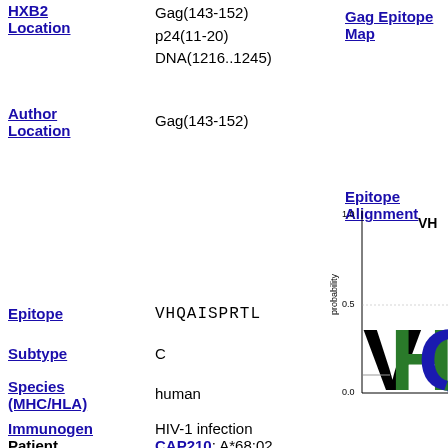HXB2 Location
Gag(143-152)
p24(11-20)
DNA(1216..1245)
Gag Epitope Map
Author Location
Gag(143-152)
Epitope Alignment
Epitope
VHQAISPRTL
[Figure (other): Sequence logo / epitope alignment chart showing probability (0.0 to 1.0) on y-axis with large letters V (black), H (green), Q (blue), A (green) representing amino acid probabilities at each position]
Subtype
C
Species (MHC/HLA)
human
Immunogen
HIV-1 infection
Patient
CAP210: A*68:02,